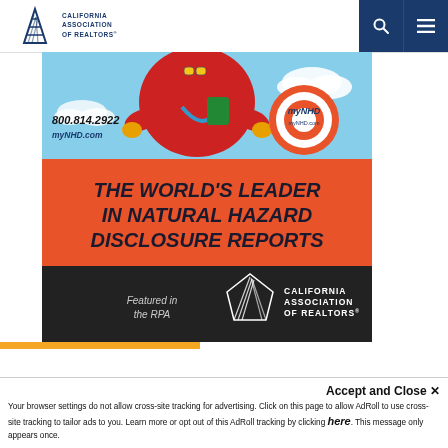CALIFORNIA ASSOCIATION OF REALTORS
[Figure (illustration): myNHD advertisement banner showing cartoon figure skydiving, with phone number 800.814.2922 and myNHD.com, red banner reading THE WORLD'S LEADER IN NATURAL HAZARD DISCLOSURE REPORTS, and black footer with California Association of Realtors logo and 'Featured in the RPA']
Accept and Close ✕
Your browser settings do not allow cross-site tracking for advertising. Click on this page to allow AdRoll to use cross-site tracking to tailor ads to you. Learn more or opt out of this AdRoll tracking by clicking here. This message only appears once.